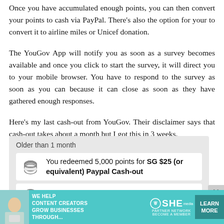Once you have accumulated enough points, you can then convert your points to cash via PayPal. There's also the option for your to convert it to airline miles or Unicef donation.
The YouGov App will notify you as soon as a survey becomes available and once you click to start the survey, it will direct you to your mobile browser. You have to respond to the survey as soon as you can because it can close as soon as they have gathered enough responses.
Here's my last cash-out from YouGov. Their disclaimer says that cash-out takes about a month but I got this in 3 weeks.
[Figure (screenshot): Screenshot of YouGov app showing redemption history. 'Older than 1 month' label, then two rows: 'You redeemed 5,000 points for SG $25 (or equivalent) Paypal Cash-out' with coin icon, and 'You earned 90 points for Period Pain' with star icon.]
[Figure (infographic): Advertisement banner for SHE Media Partner Network. Text: 'We help content creators grow businesses through...' with SHE logo and 'Learn More' button in teal.]